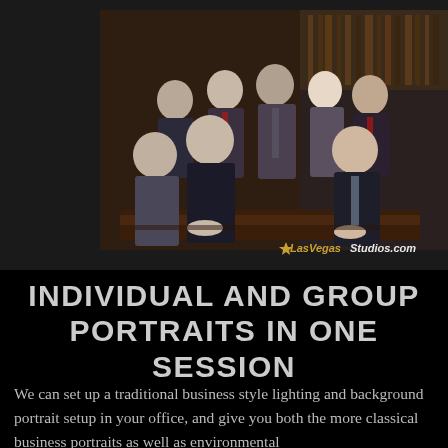[Figure (photo): Group professional portrait photo of nine business people (lawyers/professionals) seated and standing around a conference table in a formal office setting with dark wood paneling and bookshelves. Watermark reads LasVegasStudios.com in the lower right corner.]
INDIVIDUAL AND GROUP PORTRAITS IN ONE SESSION
We can set up a traditional business style lighting and background portrait setup in your office, and give you both the more classical business portraits as well as environmental